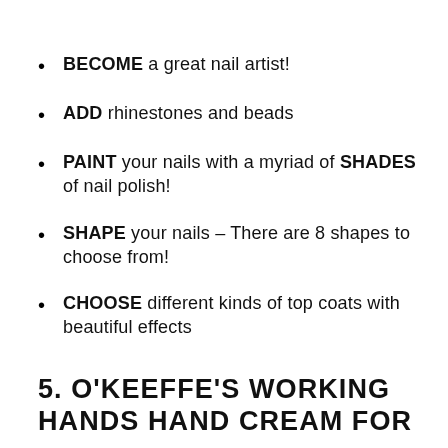BECOME a great nail artist!
ADD rhinestones and beads
PAINT your nails with a myriad of SHADES of nail polish!
SHAPE your nails – There are 8 shapes to choose from!
CHOOSE different kinds of top coats with beautiful effects
5. O'KEEFFE'S WORKING HANDS HAND CREAM FOR